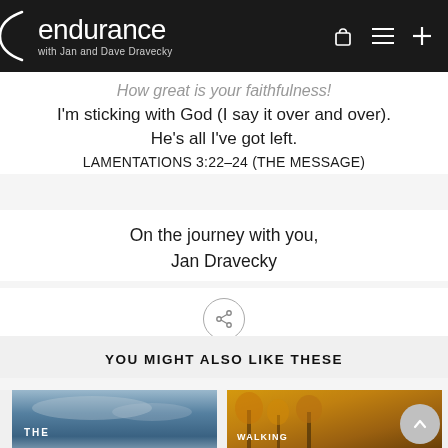endurance with Jan and Dave Dravecky
How great is your faithfulness!
I'm sticking with God (I say it over and over).
He's all I've got left.
LAMENTATIONS 3:22-24 (THE MESSAGE)
On the journey with you,
Jan Dravecky
[Figure (other): Share button icon — circle with a share symbol]
YOU MIGHT ALSO LIKE THESE
[Figure (photo): Book cover thumbnail on left — dark cloudy sky background with 'THE' text]
[Figure (photo): Book cover thumbnail on right — autumn trees with golden foliage, 'WALKING' text]